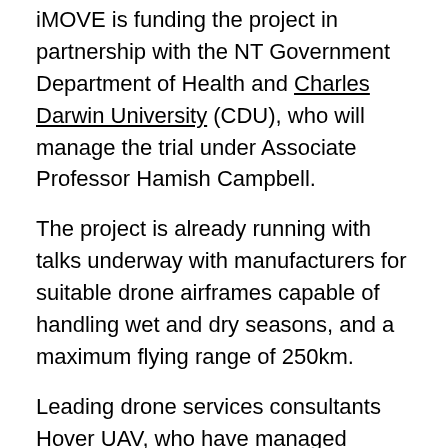iMOVE is funding the project in partnership with the NT Government Department of Health and Charles Darwin University (CDU), who will manage the trial under Associate Professor Hamish Campbell.
The project is already running with talks underway with manufacturers for suitable drone airframes capable of handling wet and dry seasons, and a maximum flying range of 250km.
Leading drone services consultants Hover UAV, who have managed projects for Google and developed cutting-edge shark detection surveillance technology, are advising on the project.
Drone pilots will soon be recruited and will undergo specialist training.
The Project will involve developing a drone test flight centre